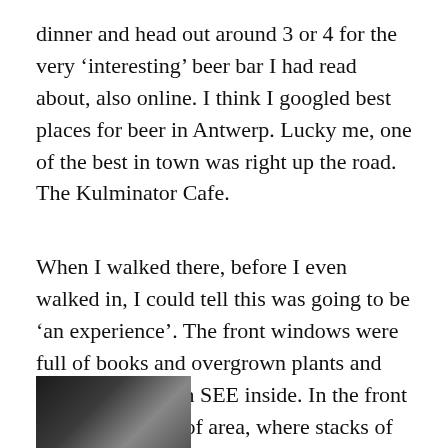dinner and head out around 3 or 4 for the very ‘interesting’ beer bar I had read about, also online. I think I googled best places for beer in Antwerp. Lucky me, one of the best in town was right up the road. The Kulminator Cafe.
When I walked there, before I even walked in, I could tell this was going to be ‘an experience’. The front windows were full of books and overgrown plants and you couldn’t even SEE inside. In the front small foyer type of area, where stacks of crates full of (I think empty) bottles. Like, you could barely get passed them and I thought they might topple as I passed.
[Figure (photo): Partial photo visible at bottom-left, appears to be a dark/greyscale image, mostly cropped out of view.]